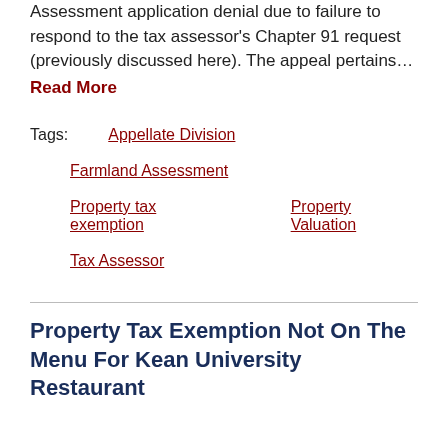Assessment application denial due to failure to respond to the tax assessor's Chapter 91 request (previously discussed here). The appeal pertains…
Read More
Tags:    Appellate Division
Farmland Assessment
Property tax exemption    Property Valuation
Tax Assessor
Property Tax Exemption Not On The Menu For Kean University Restaurant